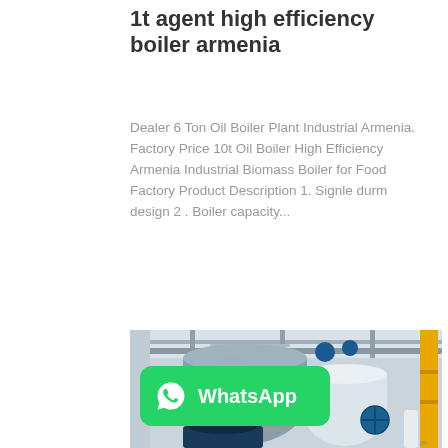1t agent high efficiency boiler armenia
Dealer 6 Ton Oil Boiler Plant Industrial Armenia. Factory Price 10t Oil Boiler High Efficiency Armenia Industrial Biomass Boiler for Food Factory Product Description 1. Signle durm design 2 . Boiler capacity...
[Figure (photo): Industrial boiler equipment in a factory setting showing large cylindrical boilers with Chinese characters, blue valves, yellow pipes, and overhead piping infrastructure]
[Figure (logo): WhatsApp green badge with phone icon and WhatsApp text label]